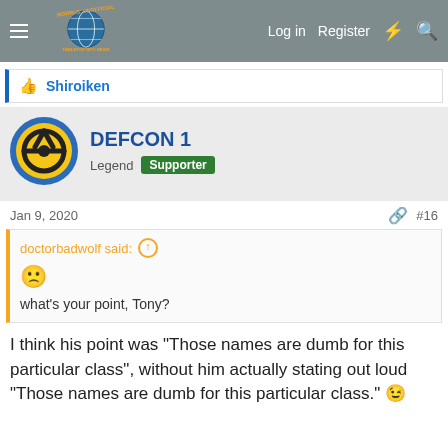Morrus' Unofficial Tabletop RPG News — Log in  Register
Shiroiken
DEFCON 1
Legend  Supporter
Jan 9, 2020  #16
doctorbadwolf said:
what's your point, Tony?
I think his point was "Those names are dumb for this particular class", without him actually stating out loud "Those names are dumb for this particular class."